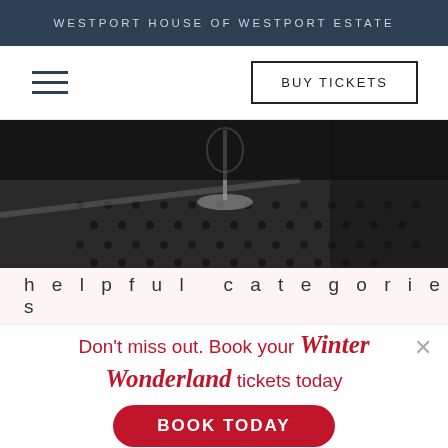WESTPORT HOUSE OF WESTPORT ESTATE
BUY TICKETS
[Figure (photo): Black and white close-up photo of a wine glass on a perforated metal bar surface]
helpful categories
Don't miss out. Book your Winter Wonderland tickets today
BOOK TODAY